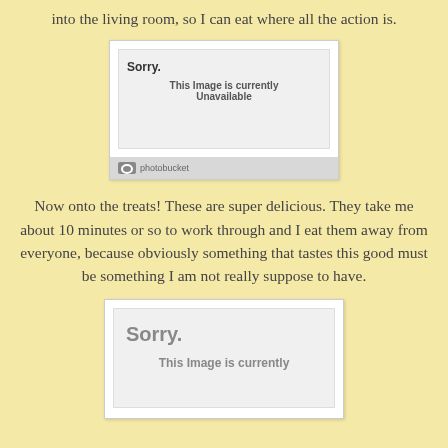into the living room, so I can eat where all the action is.
[Figure (screenshot): Photobucket image placeholder showing 'Sorry. This Image is currently Unavailable' with photobucket logo footer]
Now onto the treats! These are super delicious. They take me about 10 minutes or so to work through and I eat them away from everyone, because obviously something that tastes this good must be something I am not really suppose to have.
[Figure (screenshot): Second Photobucket image placeholder showing 'Sorry.' and partial 'This Image is currently' text]